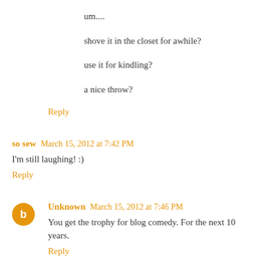um....
shove it in the closet for awhile?
use it for kindling?
a nice throw?
Reply
so sew  March 15, 2012 at 7:42 PM
I'm still laughing! :)
Reply
Unknown  March 15, 2012 at 7:46 PM
You get the trophy for blog comedy. For the next 10 years.
Reply